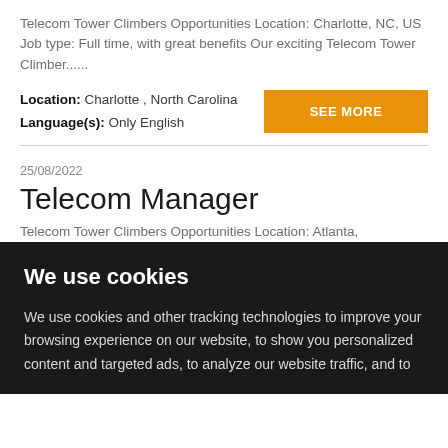Telecom Tower Climbers Opportunities Location: Charlotte, NC, US Job type: Full time, with great benefits Our exciting Telecom Tower Climber......
Location: Charlotte , North Carolina
Language(s): Only English
SEE MORE
25/08/2022
Telecom Manager
Telecom Tower Climbers Opportunities Location: Atlanta,
We use cookies
We use cookies and other tracking technologies to improve your browsing experience on our website, to show you personalized content and targeted ads, to analyze our website traffic, and to